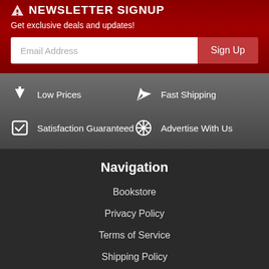NEWSLETTER SIGNUP
Get exclusive deals and updates!
Email Address  Sign Up
Low Prices
Fast Shipping
Satisfaction Guaranteed
Advertise With Us
Navigation
Bookstore
Privacy Policy
Terms of Service
Shipping Policy
Return Policy